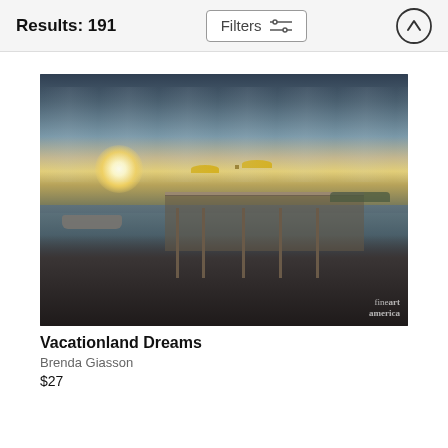Results: 191
[Figure (photo): Coastal scene at dusk showing a wooden dock/boardwalk extending over calm water, a boat moored to the left, two yellow patio umbrellas on the dock, rocky shoreline in foreground, dramatic cloudy sky with sun on horizon. Watermark: fine art america.]
Vacationland Dreams
Brenda Giasson
$27